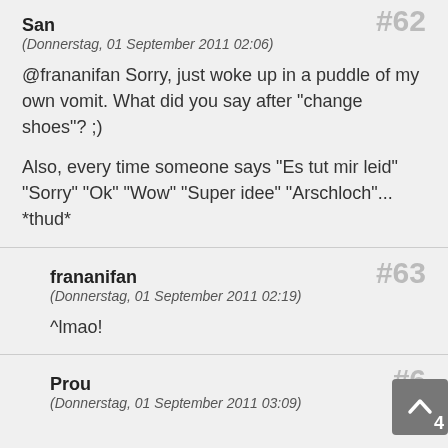San
#62
(Donnerstag, 01 September 2011 02:06)
@frananifan Sorry, just woke up in a puddle of my own vomit. What did you say after "change shoes"? ;)
Also, every time someone says "Es tut mir leid" "Sorry" "Ok" "Wow" "Super idee" "Arschloch"... *thud*
frananifan
#63
(Donnerstag, 01 September 2011 02:19)
^lmao!
Prou
#64
(Donnerstag, 01 September 2011 03:09)